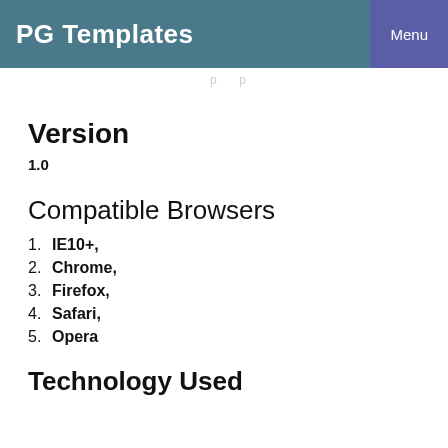PG Templates  Menu
Version
1.0
Compatible Browsers
IE10+,
Chrome,
Firefox,
Safari,
Opera
Technology Used